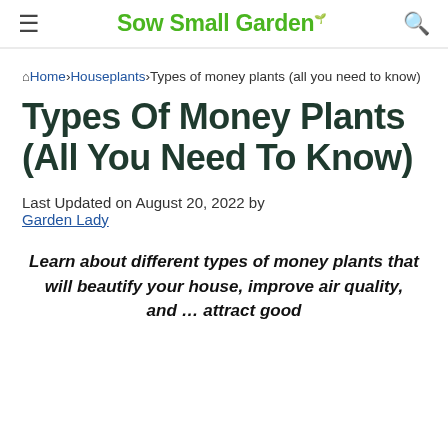Sow Small Garden
Home › Houseplants › Types of money plants (all you need to know)
Types Of Money Plants (All You Need To Know)
Last Updated on August 20, 2022 by Garden Lady
Learn about different types of money plants that will beautify your house, improve air quality, and … attract good